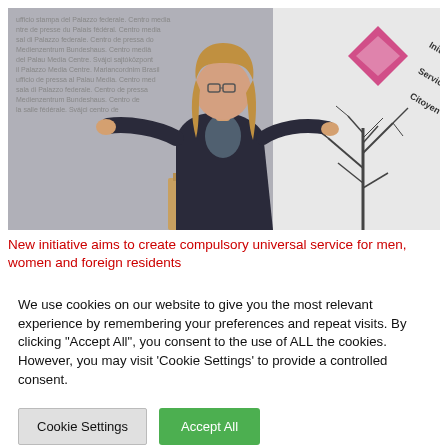[Figure (photo): A woman with long blond hair and glasses, wearing a dark blazer, speaking at a podium with arms spread. Behind her is a banner reading 'Initiative Service Citoyen' with a pink diamond logo and a decorative bare tree sculpture.]
New initiative aims to create compulsory universal service for men, women and foreign residents
We use cookies on our website to give you the most relevant experience by remembering your preferences and repeat visits. By clicking "Accept All", you consent to the use of ALL the cookies. However, you may visit 'Cookie Settings' to provide a controlled consent.